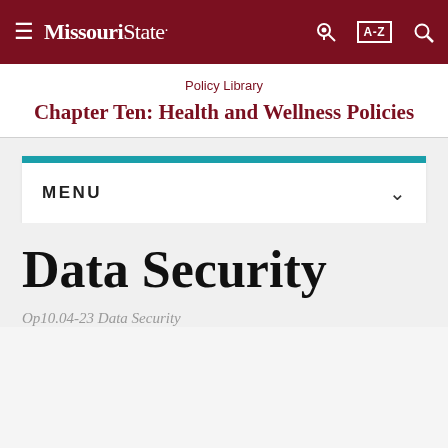≡ Missouri State. [key icon] [A-Z] [search icon]
Policy Library
Chapter Ten: Health and Wellness Policies
MENU
Data Security
Op10.04-23 Data Security